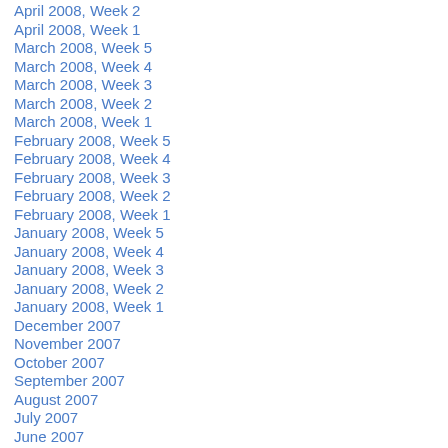April 2008, Week 2
April 2008, Week 1
March 2008, Week 5
March 2008, Week 4
March 2008, Week 3
March 2008, Week 2
March 2008, Week 1
February 2008, Week 5
February 2008, Week 4
February 2008, Week 3
February 2008, Week 2
February 2008, Week 1
January 2008, Week 5
January 2008, Week 4
January 2008, Week 3
January 2008, Week 2
January 2008, Week 1
December 2007
November 2007
October 2007
September 2007
August 2007
July 2007
June 2007
May 2007
April 2007
March 2007
February 2007
January 2007
December 2006